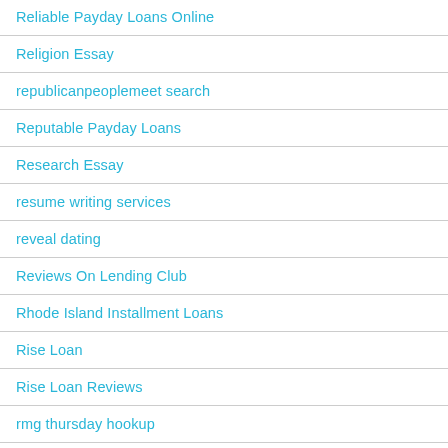Redtube Porno
Reliable Payday Loans Online
Religion Essay
republicanpeoplemeet search
Reputable Payday Loans
Research Essay
resume writing services
reveal dating
Reviews On Lending Club
Rhode Island Installment Loans
Rise Loan
Rise Loan Reviews
rmg thursday hookup